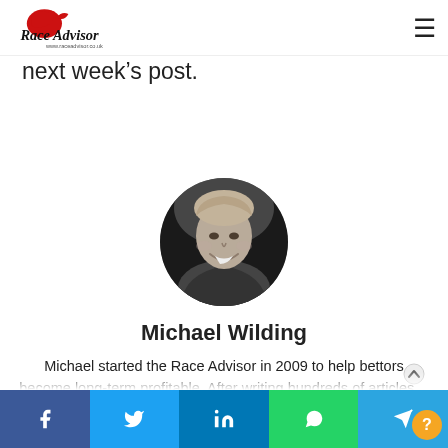Race Advisor — www.raceadvisor.co.uk
next week's post.
[Figure (photo): Black and white circular portrait photo of Michael Wilding, a smiling young man with light hair.]
Michael Wilding
Michael started the Race Advisor in 2009 to help bettors become long-term profitable. After writing hundreds of articles…
Social share bar: Facebook, Twitter, LinkedIn, WhatsApp, Telegram